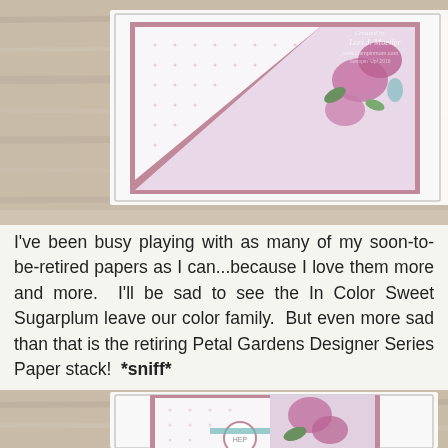[Figure (photo): Handmade craft card with floral design on wooden background, featuring pink roses and dotted pattern paper with purple/mauve border. Watermark 'Created by Lori J. Mueller' visible.]
I've been busy playing with as many of my soon-to-be-retired papers as I can...because I love them more and more.  I'll be sad to see the In Color Sweet Sugarplum leave our color family.  But even more sad than that is the retiring Petal Gardens Designer Series Paper stack!  *sniff*
[Figure (photo): Handmade craft card on wooden background featuring pink floral design with dotted pattern paper, purple/mauve border, and a circular embellishment.]